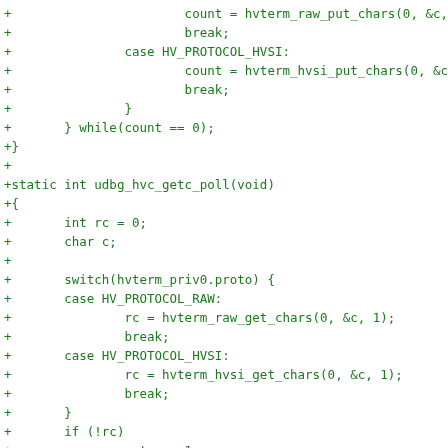[Figure (screenshot): A code diff snippet in green monospace text on white background, showing C source code additions (+) for hvterm serial console functions including udbg_hvc_getc_poll.]